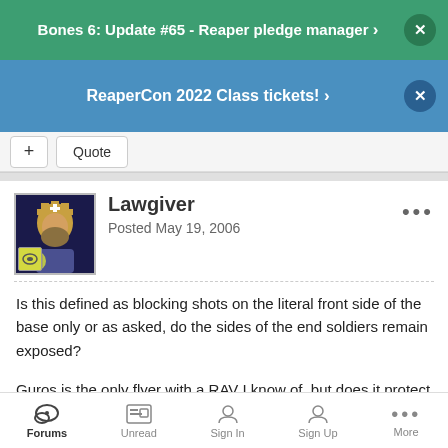Bones 6: Update #65 - Reaper pledge manager >
ReaperCon 2022 Class tickets! >
+ Quote
Lawgiver
Posted May 19, 2006
Is this defined as blocking shots on the literal front side of the base only or as asked, do the sides of the end soldiers remain exposed?

Guros is the only flyer with a RAV I know of, but does it protect against flyer RAV's too, I would assume yes, just exposing a loophole.
Forums  Unread  Sign In  Sign Up  More